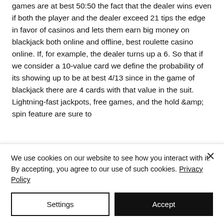overall chances of winning in blackjack games are at best 50:50 the fact that the dealer wins even if both the player and the dealer exceed 21 tips the edge in favor of casinos and lets them earn big money on blackjack both online and offline, best roulette casino online. If, for example, the dealer turns up a 6. So that if we consider a 10-value card we define the probability of its showing up to be at best 4/13 since in the game of blackjack there are 4 cards with that value in the suit.
Lightning-fast jackpots, free games, and the hold &amp; spin feature are sure to
We use cookies on our website to see how you interact with it. By accepting, you agree to our use of such cookies. Privacy Policy
Settings
Accept